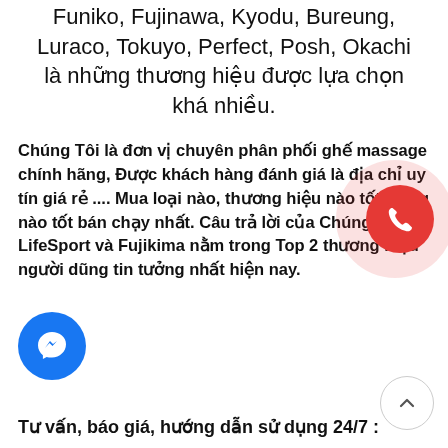Funiko, Fujinawa, Kyodo, Bureung, Luraco, Tokuyo, Perfect, Posh, Okachi là những thương hiệu được lựa chọn khá nhiều.
Chúng Tôi là đơn vị chuyên phân phối ghế massage chính hãng, Được khách hàng đánh giá là địa chỉ uy tín giá rẻ .... Mua loại nào, thương hiệu nào tốt, hãng nào tốt bán chạy nhất. Câu trả lời của Chúng tôi : LifeSport và Fujikima nằm trong Top 2 thương hiệu người dũng tin tưởng nhất hiện nay.
[Figure (illustration): Red phone call button (circle) with halo, positioned top-right area]
[Figure (illustration): Facebook Messenger blue circle button, bottom-left]
[Figure (illustration): Scroll-to-top white circle button with upward chevron, bottom-right]
Tư vấn, báo giá, hướng dẫn sử dụng 24/7 :